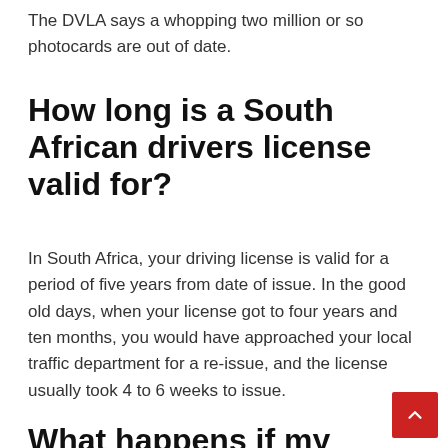The DVLA says a whopping two million or so photocards are out of date.
How long is a South African drivers license valid for?
In South Africa, your driving license is valid for a period of five years from date of issue. In the good old days, when your license got to four years and ten months, you would have approached your local traffic department for a re-issue, and the license usually took 4 to 6 weeks to issue.
What happens if my